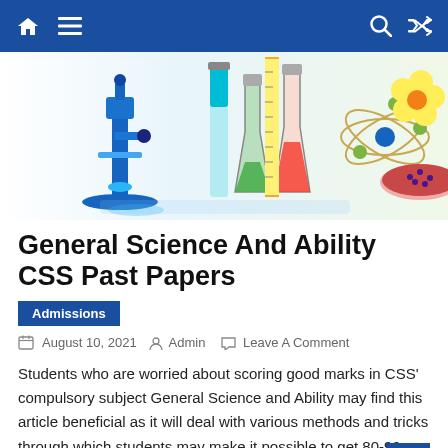Navigation bar with home, menu, search, and shuffle icons
[Figure (photo): Science laboratory equipment including a blue microscope, colorful liquid-filled flasks and cylinders, an atomic model structure, a yellow flower, and seeds in a dish on a white background.]
General Science And Ability CSS Past Papers
Admissions
August 10, 2021  Admin  Leave A Comment
Students who are worried about scoring good marks in CSS' compulsory subject General Science and Ability may find this article beneficial as it will deal with various methods and tricks through which students may make it possible to get 80-90 marks out of 100 in General Science and Ability.